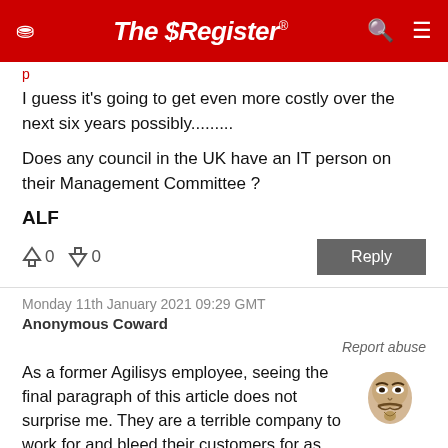The Register
I guess it's going to get even more costly over the next six years possibly.........
Does any council in the UK have an IT person on their Management Committee ?
ALF
↑0  ↓0   Reply
Monday 11th January 2021 09:29 GMT
Anonymous Coward
Report abuse
As a former Agilisys employee, seeing the final paragraph of this article does not surprise me. They are a terrible company to work for and bleed their customers for as much money as possible whilst delivering a poor service. Why any company would